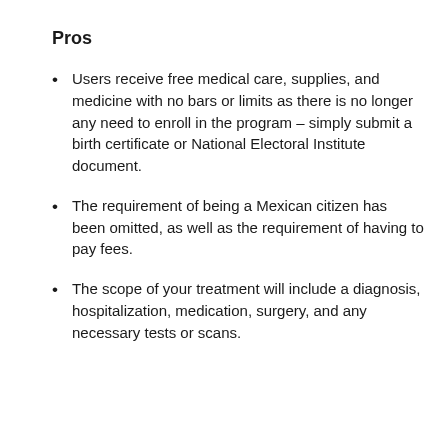Pros
Users receive free medical care, supplies, and medicine with no bars or limits as there is no longer any need to enroll in the program – simply submit a birth certificate or National Electoral Institute document.
The requirement of being a Mexican citizen has been omitted, as well as the requirement of having to pay fees.
The scope of your treatment will include a diagnosis, hospitalization, medication, surgery, and any necessary tests or scans.